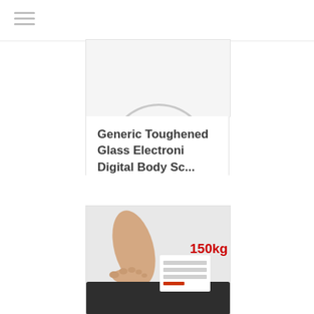[Figure (other): Navigation hamburger menu icon (three horizontal lines)]
[Figure (photo): Top portion of a circular weighing scale in white/silver, partially cropped]
Generic Toughened Glass Electroni Digital Body Sc...
☰ Details
[Figure (photo): Photo of a bathroom scale showing 150kg, with a person's foot on it]